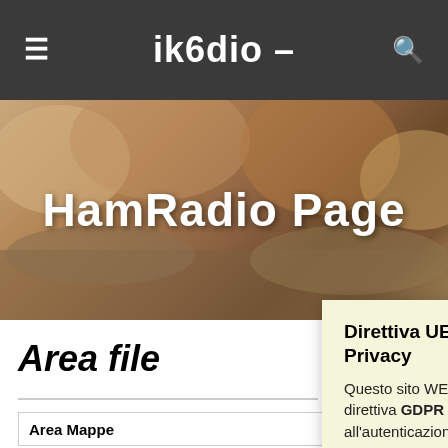ik6dio –
[Figure (photo): Hero banner image showing rocks/stone background with 'HamRadio Page' title text overlaid in white bold font]
HamRadio Page
Area file
Direttiva UE GDPR sulla Privacy
Questo sito WEB usa i cookie come da direttiva GDPR in ausilio all'autenticazione, alla navigazione e ad altre funzioni. L'utilizzo di questo sito WEB implica accettare che dei cookie possano essere memorizzati sul tuo dispositivo. Per fornire un consenso controllato, usare il "Cookie Settings", i cookie proposti, non sono poi molti, nel mio blog non vi è alcun tracciamento con fini pubblicitari, hi.
Cookie Settings | Accept All
Area Mappe